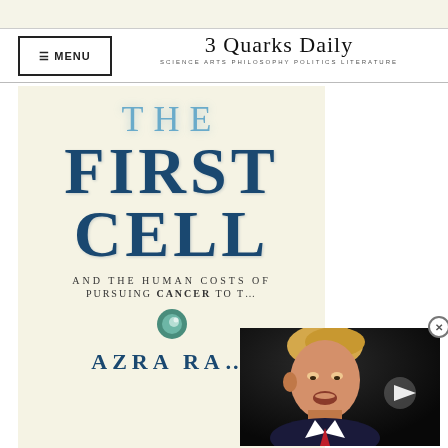3 Quarks Daily — SCIENCE ARTS PHILOSOPHY POLITICS LITERATURE
[Figure (illustration): Book cover for 'The First Cell and the Human Costs of Pursuing Cancer to the Last' by Azra Raza. Large blue serif lettering on cream background showing 'THE FIRST CELL' with subtitle and author name, with a small cell/orb graphic icon. A video overlay shows a photo of Donald Trump in the lower right corner with a play button.]